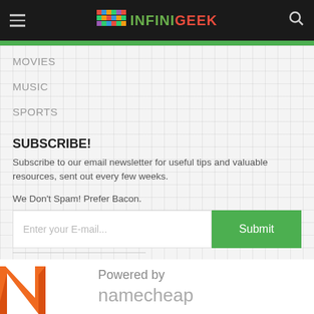INFINIGEEK
MOVIES
MUSIC
SPORTS
SUBSCRIBE!
Subscribe to our email newsletter for useful tips and valuable resources, sent out every few weeks.
We Don't Spam! Prefer Bacon.
[Figure (other): Email subscription form with input field placeholder 'Enter your E-mail...' and green Submit button]
[Figure (logo): Namecheap logo with orange N icon and 'Powered by namecheap' text]